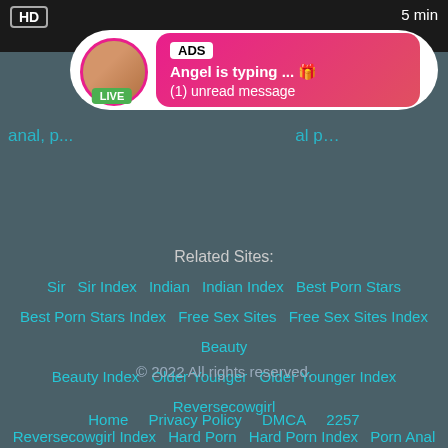[Figure (screenshot): Top bar with HD badge and 5 min label on dark background]
[Figure (infographic): Ad overlay showing Angel is typing message with LIVE avatar badge, ADS label, and pink gradient bubble]
anal, ... al p...
Related Sites:
Sir  Sir Index  Indian  Indian Index  Best Porn Stars  Best Porn Stars Index  Free Sex Sites  Free Sex Sites Index  Beauty  Beauty Index  Older Younger  Older Younger Index  Reversecowgirl  Reversecowgirl Index  Hard Porn  Hard Porn Index  Porn Anal  Porn Anal Index  Chick  Chick Index
© 2022 All rights reserved.
Home  Privacy Policy  DMCA  2257